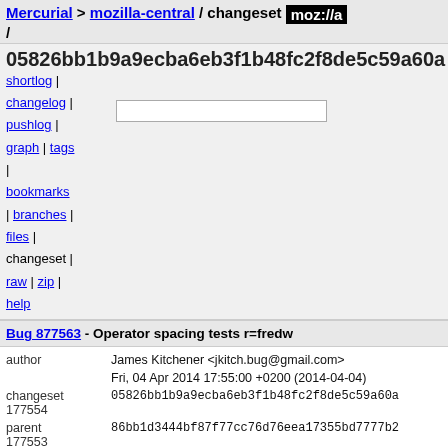Mercurial > mozilla-central / changeset moz://a /
05826bb1b9a9ecba6eb3f1b48fc2f8de5c59a60a
shortlog | changelog | pushlog | graph | tags | bookmarks | branches | files | changeset | raw | zip | help
Bug 877563 - Operator spacing tests r=fredw
| author | James Kitchener <jkitch.bug@gmail.com> |
|  | Fri, 04 Apr 2014 17:55:00 +0200 (2014-04-04) |
| changeset 177554 | 05826bb1b9a9ecba6eb3f1b48fc2f8de5c59a60a |
| parent 177553 | 86bb1d3444bf87f77cc76d76eea17355bd7777b2 |
| child 177555 | 878193cac6b7cc9d4cc6c83d241daa1f5e77bcd0 |
| push id | 26556 |
| push user | ryanvm@gmail.com |
| push date | Tue, 08 Apr 2014 22:16:57 +0000 (2014-04-08) |